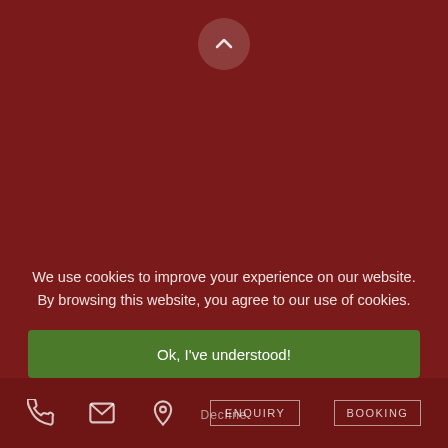[Figure (screenshot): Dark red background with a circular back-to-top arrow button at top center]
We use cookies to improve your experience on our website. By browsing this website, you agree to our use of cookies.
Ok, I've understood!
[Figure (screenshot): Bottom navigation bar with phone icon, email icon, location pin icon, ENQUIRY button, Decline text, and BOOKING button]